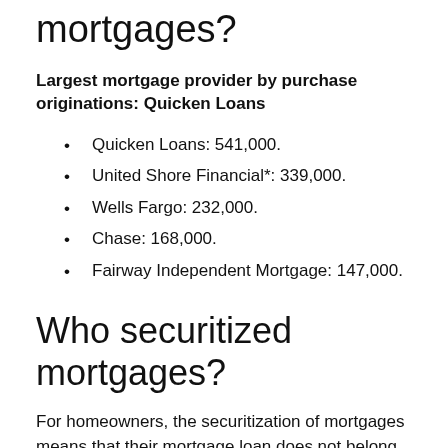mortgages?
Largest mortgage provider by purchase originations: Quicken Loans
Quicken Loans: 541,000.
United Shore Financial*: 339,000.
Wells Fargo: 232,000.
Chase: 168,000.
Fairway Independent Mortgage: 147,000.
Who securitized mortgages?
For homeowners, the securitization of mortgages means that their mortgage loan does not belong to a single lender. The loan is part of a pool owned by investors. A